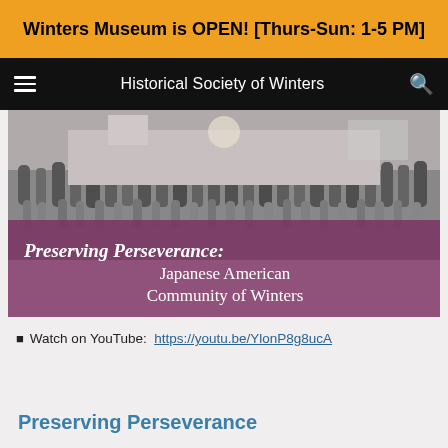Winters Museum is OPEN! [Thurs-Sun: 1-5 PM]
Historical Society of Winters
[Figure (photo): Black and white group photo of Japanese American community members standing in front of a building, with a decorative background. Overlaid text reads: Preserving Perseverance: Japanese American Community of Winters]
Watch on YouTube:  https://youtu.be/YlonP8g8ucA
Preserving Perseverance